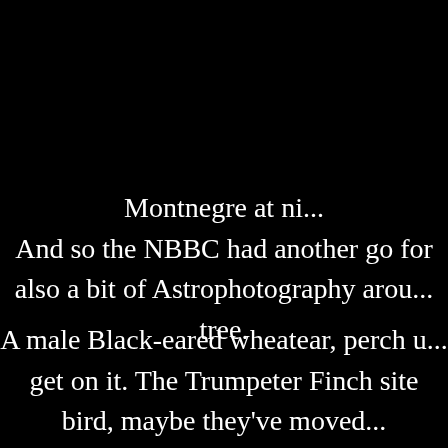Montnegre at ni... And so the NBBC had another go for also a bit of Astrophotography arou... tree. A male Black-eared wheatear, perch u... get on it. The Trumpeter Finch site bird, maybe they've moved... Swallows, Craig Martin's, and Red R...